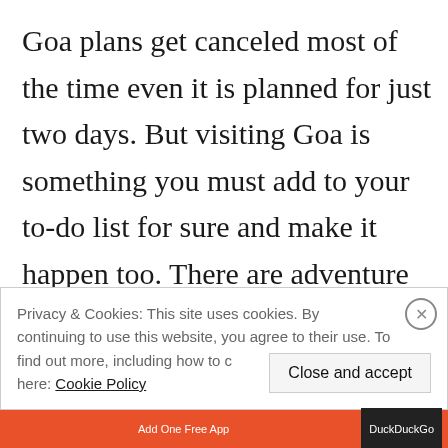Goa plans get canceled most of the time even it is planned for just two days. But visiting Goa is something you must add to your to-do list for sure and make it happen too. There are adventure activities in Goa that you won't get at any other place. So give us a chance to make
Privacy & Cookies: This site uses cookies. By continuing to use this website, you agree to their use. To find out more, including how to c here: Cookie Policy
Close and accept